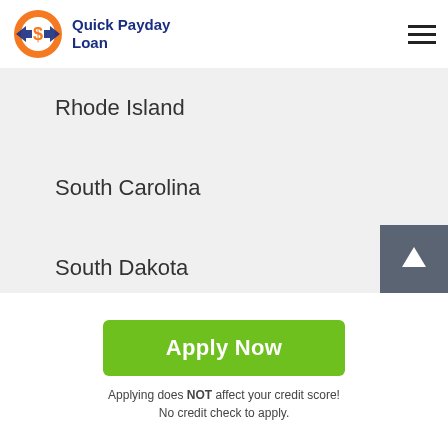[Figure (logo): Quick Payday Loan logo with orange circle and dollar sign, blue text]
Rhode Island
South Carolina
South Dakota
Tennessee
Texas
Apply Now
Applying does NOT affect your credit score! No credit check to apply.